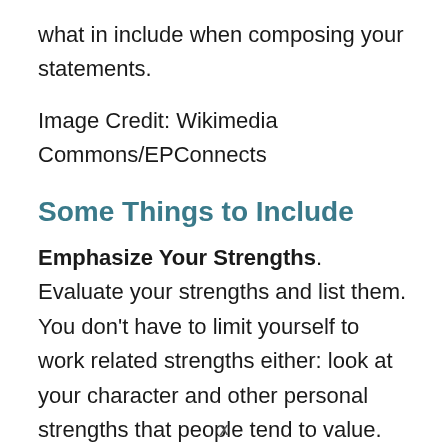what in include when composing your statements.
Image Credit: Wikimedia Commons/EPConnects
Some Things to Include
Emphasize Your Strengths. Evaluate your strengths and list them. You don't have to limit yourself to work related strengths either: look at your character and other personal strengths that people tend to value. Now that you understand your